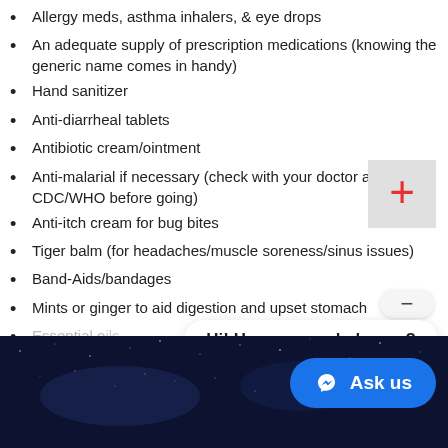Allergy meds, asthma inhalers, & eye drops
An adequate supply of prescription medications (knowing the generic name comes in handy)
Hand sanitizer
Anti-diarrheal tablets
Antibiotic cream/ointment
Anti-malarial if necessary (check with your doctor and the CDC/WHO before going)
Anti-itch cream for bug bites
Tiger balm (for headaches/muscle soreness/sinus issues)
Band-Aids/bandages
Mints or ginger to aid digestion and upset stomach
Essential oils
[Figure (screenshot): Chat widget overlay with 'Hi! How can we help you?' popup and blue 'Ask us' button with Messenger icon, plus a gray plus button and minus button]
[Figure (photo): Night sky / starfield dark blue background photo at bottom of page]